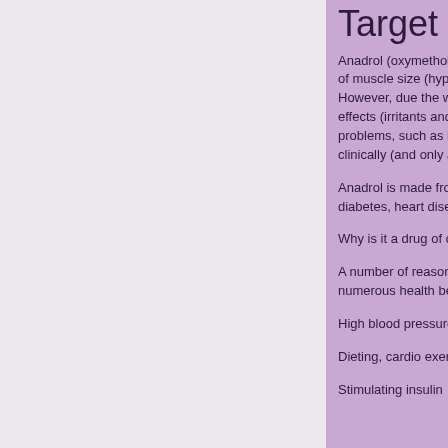Target weigh
Anadrol (oxymetholo... of muscle size (hype... However, due the wa... effects (irritants and s... problems, such as hi... clinically (and only as...
Anadrol is made fron... diabetes, heart disea...
Why is it a drug of ch...
A number of reasons... numerous health ben...
High blood pressure
Dieting, cardio exerc...
Stimulating insulin...